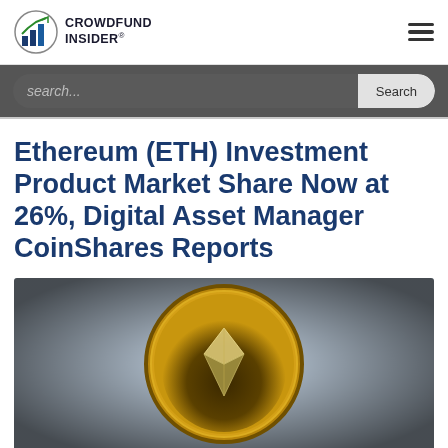CROWDFUND INSIDER®
Ethereum (ETH) Investment Product Market Share Now at 26%, Digital Asset Manager CoinShares Reports
[Figure (photo): Close-up photo of a gold Ethereum (ETH) coin with the diamond/arrow logo on a light blue background with dark shadow edges]